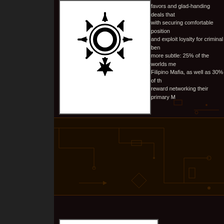[Figure (illustration): White square with black Filipino sun and star symbol (Katipunan-style)]
favors and glad-handing deals that help with securing comfortable positions and exploit loyalty for criminal ben more subtle: 25% of the worlds me Filipino Mafia, as well as 30% of th reward networking their primary M
[Figure (illustration): White square with black triskelion (triple spiral Celtic/Maori symbol)]
The First People are the largest trib collective of Packs organized arou themselves spiritually. Much of the has then been liberally added to fr "walkabout" and "Dreamland") as w
[Figure (illustration): Imazighen/Amazigh symbol - blue rectangle background with red Tifinagh letter Yaz and green stripe]
The Imazighen is the private army Friedlander Bey during his rise to p fanatically loyal to "The Emir". The sticker on vehicles. If you see one